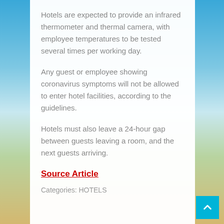Hotels are expected to provide an infrared thermometer and thermal camera, with employee temperatures to be tested several times per working day.
Any guest or employee showing coronavirus symptoms will not be allowed to enter hotel facilities, according to the guidelines.
Hotels must also leave a 24-hour gap between guests leaving a room, and the next guests arriving.
Source Article
Categories: HOTELS